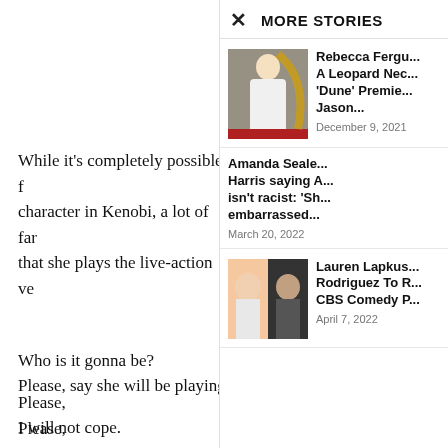While it's completely possible f... character in Kenobi, a lot of fa... that she plays the live-action ve...
Who is it gonna be?
Please,
Please,
Please, say she will be playing Doctor Aphra.
I will not cope.
MORE STORIES
[Figure (photo): Woman in white dress on red carpet at Dune premiere]
Rebecca Fergu... A Leopard Nec... 'Dune' Premie... Jason...
December 9, 2021
Amanda Seale... Harris saying A... isn't racist: 'Sh... embarrassed...
March 20, 2022
[Figure (photo): Two women side by side headshots]
Lauren Lapkus... Rodriguez To R... CBS Comedy P...
April 7, 2022